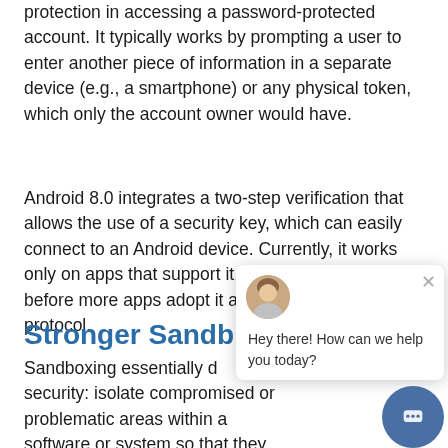protection in accessing a password-protected account. It typically works by prompting a user to enter another piece of information in a separate device (e.g., a smartphone) or any physical token, which only the account owner would have.
Android 8.0 integrates a two-step verification that allows the use of a security key, which can easily connect to an Android device. Currently, it works only on apps that support it, but it won't be long before more apps adopt it as an essential security protocol.
Stronger Sandb...
Sandboxing essentially c... security: isolate compromised or problematic areas within a software or system so that they don't inf... rest of the system.
[Figure (screenshot): Chat widget popup overlay showing a female avatar, a close button (×), and the message 'Hey there! How can we help you today?' with a circular chat button below.]